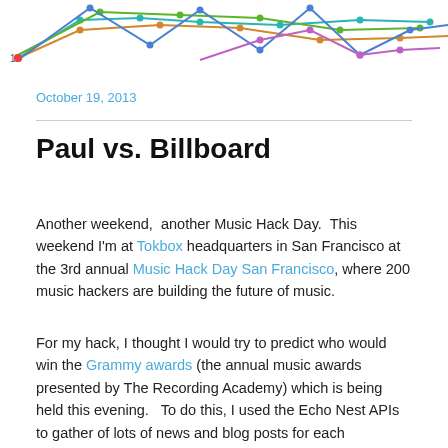[Figure (line-chart): Colorful multi-line chart showing music chart data with numbered y-axis label '13' visible, multiple colored lines with dots at various positions across a wide horizontal span]
October 19, 2013
Paul vs. Billboard
Another weekend,  another Music Hack Day.  This weekend I'm at Tokbox headquarters in San Francisco at the 3rd annual Music Hack Day San Francisco, where 200 music hackers are building the future of music.
For my hack, I thought I would try to predict who would win the Grammy awards (the annual music awards presented by The Recording Academy) which is being held this evening.   To do this, I used the Echo Nest APIs to gather of lots of news and blog posts for each nominated artist. I